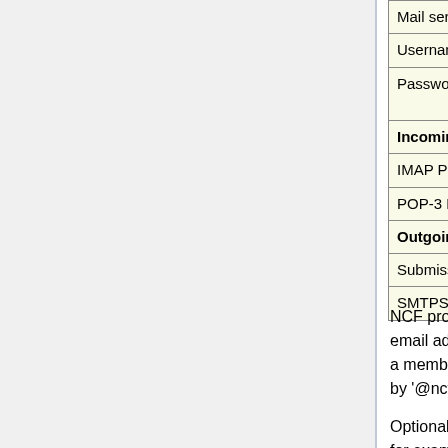|  |  |
| --- | --- |
| Mail server: | mail.ncf.ca |
| Username: | (your NCF ID, eg., ab123) |
| Password: | (your NCF account password) |
| Incoming mail: |  |
| IMAP Port: | (SSL) Port 993 |
| POP-3 Port: | (SSL) Port 995 |
| Outgoing mail: |  |
| Submission: | (TLS and starttls) Port 587 |
| SMTPS: | (SSL-legacy) Port 465 |
NCF provides every member with a personal email address. NCF email addresses are simply a member's account ID (eg., 'ab123') followed by '@ncf.ca', for example, 'ab123@ncf.ca'.
Optionally, you can arrange for an email alias, for example, 'jsmith@ncf.ca'. Information about getting an email alias